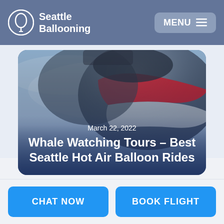Seattle Ballooning | MENU
[Figure (photo): Close-up photo of a hot air balloon envelope with red and white panels against a blue sky, viewed from below]
March 22, 2022
Whale Watching Tours – Best Seattle Hot Air Balloon Rides
CHAT NOW
BOOK FLIGHT